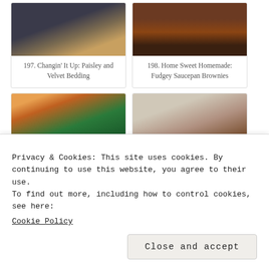[Figure (photo): Photo of paisley and velvet bedding with decorative star]
197. Changin' It Up: Paisley and Velvet Bedding
[Figure (photo): Photo of fudgey saucepan brownies]
198. Home Sweet Homemade: Fudgey Saucepan Brownies
[Figure (photo): Fall foliage scene with red boathouse on lake]
199. Simple Southern Sunday No. 55 | Everyday Living
[Figure (photo): Espresso biscotti with coffee cup]
200. Espresso Biscotti - Don't Sweat The Recipe
Privacy & Cookies: This site uses cookies. By continuing to use this website, you agree to their use.
To find out more, including how to control cookies, see here:
Cookie Policy
Close and accept